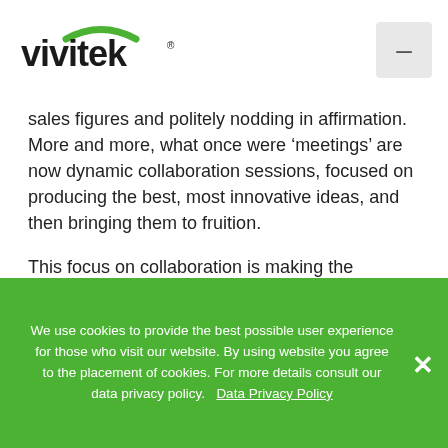vivitek [logo] [menu button]
sales figures and politely nodding in affirmation. More and more, what once were ‘meetings’ are now dynamic collaboration sessions, focused on producing the best, most innovative ideas, and then bringing them to fruition.
This focus on collaboration is making the traditional office AV solutions obsolete. The need to work together and exchange ideas means modern AV solutions need to be flexible and easy-to-use, while fostering collaboration. Vivitek’s NovoConnect family of solutions does just that. With
We use cookies to provide the best possible user experience for those who visit our website. By using website you agree to the placement of cookies. For more details consult our data privacy policy.   Data Privacy Policy